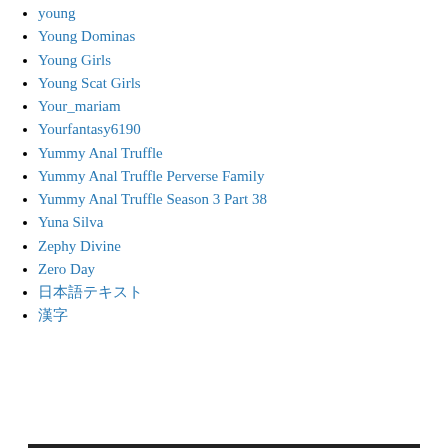young
Young Dominas
Young Girls
Young Scat Girls
Your_mariam
Yourfantasy6190
Yummy Anal Truffle
Yummy Anal Truffle Perverse Family
Yummy Anal Truffle Season 3 Part 38
Yuna Silva
Zephy Divine
Zero Day
日本語テキスト
漢字